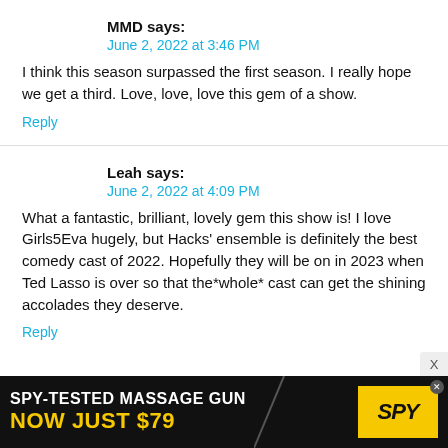MMD says:
June 2, 2022 at 3:46 PM
I think this season surpassed the first season. I really hope we get a third. Love, love, love this gem of a show.
Reply
Leah says:
June 2, 2022 at 4:09 PM
What a fantastic, brilliant, lovely gem this show is! I love Girls5Eva hugely, but Hacks' ensemble is definitely the best comedy cast of 2022. Hopefully they will be on in 2023 when Ted Lasso is over so that the*whole* cast can get the shining accolades they deserve.
Reply
[Figure (other): Advertisement banner: SPY-TESTED MASSAGE GUN NOW JUST $79 with SPY logo]